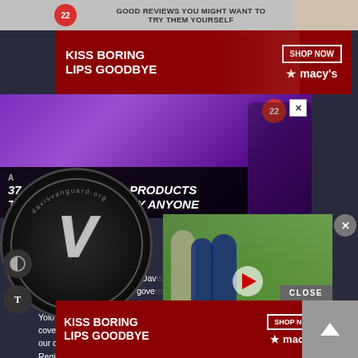[Figure (screenshot): Top gray bar with '22 GOOD REVIEWS YOU MIGHT WANT TO TRY THEM YOURSELF' text and red badge]
[Figure (screenshot): Macy's advertisement banner: 'KISS BORING LIPS GOODBYE' with SHOP NOW button and Macy's star logo on dark red background]
[Figure (screenshot): Purple headphones advertisement overlay with '37 GENIUS AMAZON PRODUCTS THAT CAN BE USED BY ANYONE' headline, red badge numbered 22, and X close button]
[Figure (logo): Davis Vanguard logo — circular black logo with silver V letter and davisvanguard.org text around the border]
[Figure (photo): Video thumbnail showing group of people at a political campaign event with a Jerry Nadler for Congress sign, including a play button overlay]
The Vanguard provides the Davis area with in-depth coverage of local government issues. Since 2006, The Vanguard has provided Yolo County with some of the best groundbreaking news coverage on local government and policy issues affecting our city, our schools, the county, and the Sacramento Region.
[Figure (screenshot): Bottom Macy's advertisement banner: 'KISS BORING LIPS GOODBYE' with SHOP NOW button and Macy's star logo]